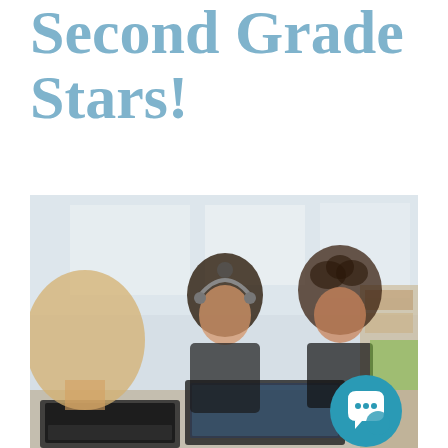Second Grade Stars!
[Figure (photo): Classroom photo showing three students (two girls and a boy) sitting at a table working on laptops/tablets in a school classroom. Shelves and whiteboards visible in the background. A teal chat bubble icon overlay appears in the bottom-right corner of the photo.]